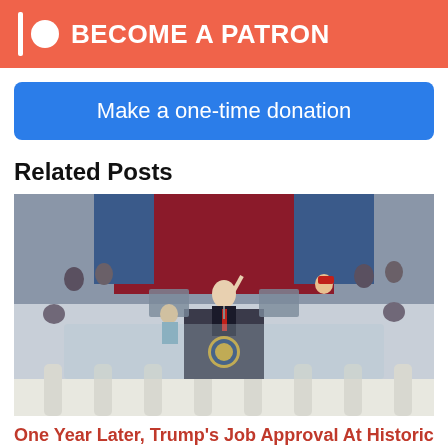[Figure (other): Patreon become a patron banner with orange/red background, vertical bar, circle icon, and white bold text 'BECOME A PATRON']
[Figure (other): Blue rounded button with white text 'Make a one-time donation']
Related Posts
[Figure (photo): Photo of a political figure (Trump) speaking at a podium with the Presidential Seal during an inauguration ceremony, surrounded by a crowd]
One Year Later, Trump's Job Approval At Historic